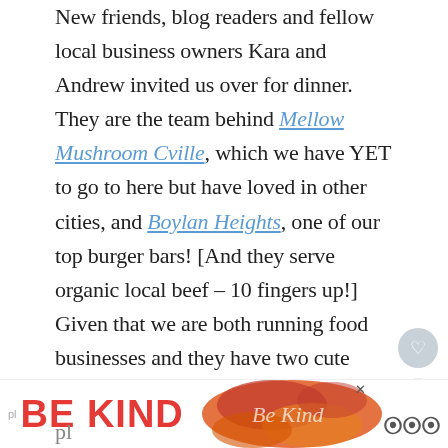New friends, blog readers and fellow local business owners Kara and Andrew invited us over for dinner. They are the team behind Mellow Mushroom Cville, which we have YET to go to here but have loved in other cities, and Boylan Heights, one of our top burger bars! [And they serve organic local beef – 10 fingers up!] Given that we are both running food businesses and they have two cute kids, we had lots to talk about : )
Kara and Andrew own on a stunning plot of land on which they built a cottage that they rent by the night. Let me know if you are looking for a special pl...
[Figure (other): Heart/like button (circular gray icon with heart symbol)]
[Figure (other): Share button (circular light gray icon with share symbol)]
[Figure (other): What's Next widget showing 'One Woman's Trash' with thumbnail image]
[Figure (other): Advertisement banner: BE KIND with decorative flower illustration and close button, with logo on right]